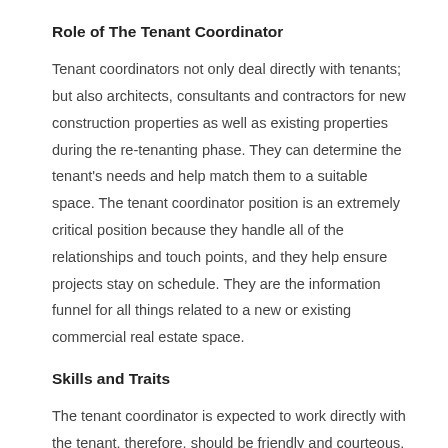Role of The Tenant Coordinator
Tenant coordinators not only deal directly with tenants; but also architects, consultants and contractors for new construction properties as well as existing properties during the re-tenanting phase. They can determine the tenant's needs and help match them to a suitable space. The tenant coordinator position is an extremely critical position because they handle all of the relationships and touch points, and they help ensure projects stay on schedule. They are the information funnel for all things related to a new or existing commercial real estate space.
Skills and Traits
The tenant coordinator is expected to work directly with the tenant, therefore, should be friendly and courteous. Tenant coordinator's also need to be organized and responsible. Attention to detail is important because tenant coordinator's need to keep detailed logs